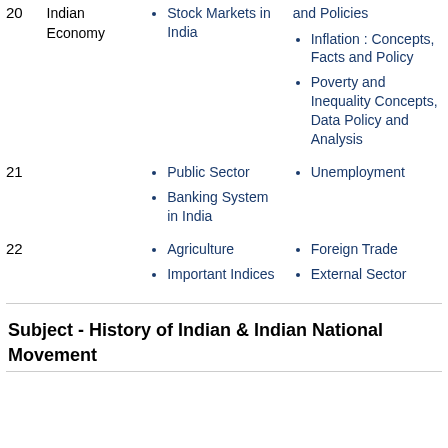| No. | Subject | Topics | Sub-topics |
| --- | --- | --- | --- |
| 20 | Indian Economy | Stock Markets in India | and Policies
Inflation : Concepts, Facts and Policy
Poverty and Inequality Concepts, Data Policy and Analysis |
| 21 |  | Public Sector
Banking System in India | Unemployment |
| 22 |  | Agriculture
Important Indices | Foreign Trade
External Sector |
Subject - History of Indian & Indian National Movement